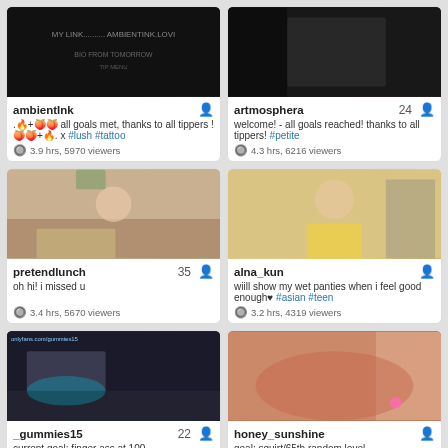[Figure (screenshot): Thumbnail for ambientInk stream - dark background]
ambientInk
.🔥+🍑🍑 all goals met, thanks to all tippers ! 🍑🍑+🔥. x #lush #tattoo
3.9 hrs, 5970 viewers
[Figure (screenshot): Thumbnail for artmosphera stream - dark room]
artmosphera 24
welcome! - all goals reached! thanks to all tippers! #petite
4.3 hrs, 6216 viewers
[Figure (screenshot): Thumbnail for pretendlunch - woman in room]
pretendlunch 35
oh hi! i missed u
3.4 hrs, 5670 viewers
[Figure (screenshot): Thumbnail for alna_kun - woman in yellow skirt]
alna_kun
wiill show my wet panties when i feel good enough♥ #asian #teen
3.2 hrs, 4319 viewers
[Figure (screenshot): Thumbnail for _gummies15 - dark room with teal light]
_gummies15 22
current goal: finger ass at 100
[Figure (screenshot): Thumbnail for honey_sunshine - bright room]
honey_sunshine
goal: squirt/65th random level